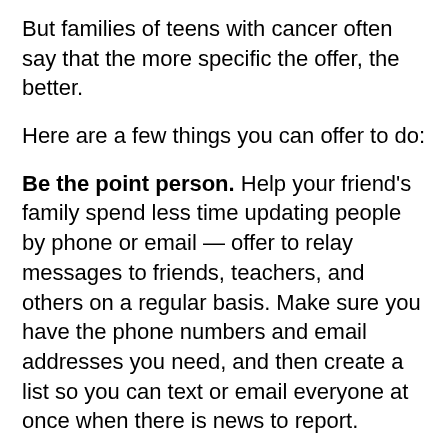But families of teens with cancer often say that the more specific the offer, the better.
Here are a few things you can offer to do:
Be the point person. Help your friend's family spend less time updating people by phone or email — offer to relay messages to friends, teachers, and others on a regular basis. Make sure you have the phone numbers and email addresses you need, and then create a list so you can text or email everyone at once when there is news to report.
Go a little nutty. Don't be afraid to be silly. Humor can be an excellent distraction, so consider showing up with joke books, Mad Libs (remember those?), Silly String, comedy DVDs, weird little toys — anything you think your friend would like. If your friend is feeling low...